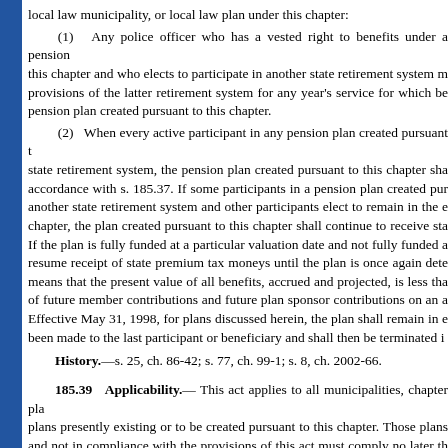local law municipality, or local law plan under this chapter:
(1) Any police officer who has a vested right to benefits under a pension this chapter and who elects to participate in another state retirement system m provisions of the latter retirement system for any year’s service for which be pension plan created pursuant to this chapter.
(2) When every active participant in any pension plan created pursuant t state retirement system, the pension plan created pursuant to this chapter sha accordance with s. 185.37. If some participants in a pension plan created pur another state retirement system and other participants elect to remain in the e chapter, the plan created pursuant to this chapter shall continue to receive sta If the plan is fully funded at a particular valuation date and not fully funded a resume receipt of state premium tax moneys until the plan is once again dete means that the present value of all benefits, accrued and projected, is less tha of future member contributions and future plan sponsor contributions on an a Effective May 31, 1998, for plans discussed herein, the plan shall remain in e been made to the last participant or beneficiary and shall then be terminated i
History.—s. 25, ch. 86-42; s. 77, ch. 99-1; s. 8, ch. 2002-66.
185.39 Applicability.
This act applies to all municipalities, chapter pla plans presently existing or to be created pursuant to this chapter. Those plans and not in compliance with the provisions of this act must comply no later th sponsor of any plan established by special act of the Legislature shall have u provisions of this act, except as otherwise provided in this act with regard to